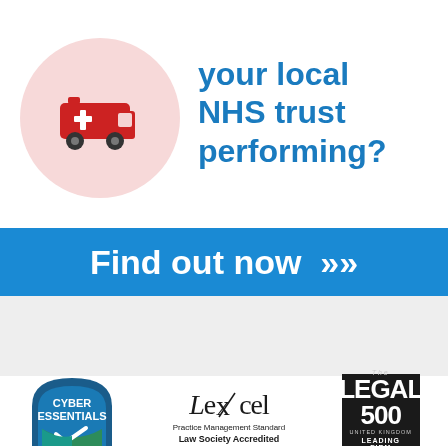[Figure (illustration): Red ambulance / emergency vehicle icon on a light pink circular background, positioned on the left side of the top section]
your local NHS trust performing?
[Figure (infographic): Blue banner with white bold text reading 'Find out now >>>']
[Figure (logo): Cyber Essentials badge - dark blue arch shape with white text 'CYBER ESSENTIALS' and teal/green checkmark]
[Figure (logo): Lexcel Practice Management Standard Law Society Accredited logo]
[Figure (logo): The Legal 500 United Kingdom Leading Firm badge - black rectangle with white text]